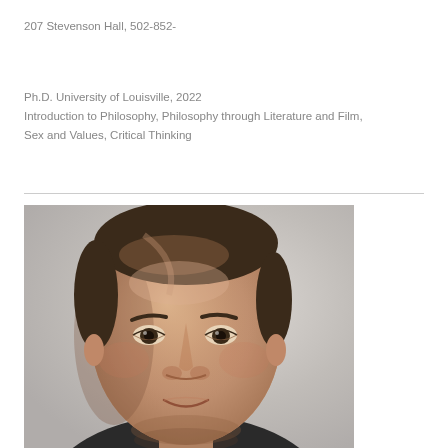207 Stevenson Hall, 502-852-
Ph.D. University of Louisville, 2022
Introduction to Philosophy, Philosophy through Literature and Film, Sex and Values, Critical Thinking
[Figure (photo): Headshot portrait of a middle-aged man with dark brown hair, looking at the camera against a light gray background.]